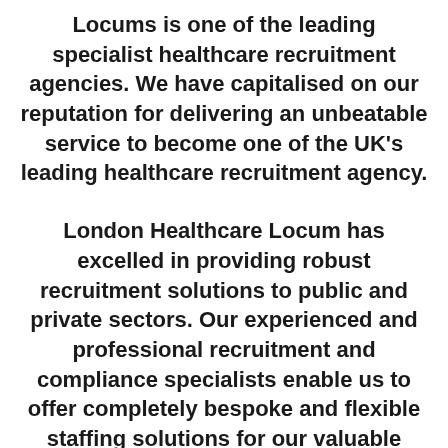Locums is one of the leading specialist healthcare recruitment agencies. We have capitalised on our reputation for delivering an unbeatable service to become one of the UK's leading healthcare recruitment agency.
London Healthcare Locum has excelled in providing robust recruitment solutions to public and private sectors. Our experienced and professional recruitment and compliance specialists enable us to offer completely bespoke and flexible staffing solutions for our valuable clients. We are a one-stop-shop for industry recruitment as our business spans supplying medical locums, qualified nursing staff, health science services and social care and support